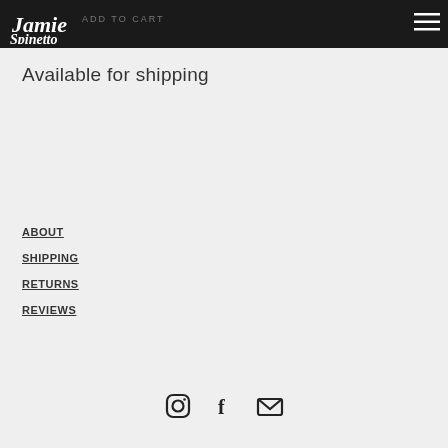ADD TO CART | Jamie Spinetto logo | hamburger menu
Available for shipping
ABOUT
SHIPPING
RETURNS
REVIEWS
[Figure (other): Social media icons: Instagram, Facebook, Email]